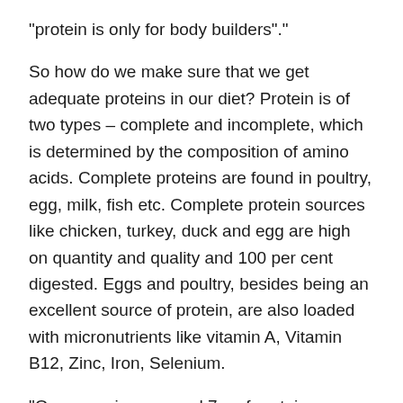“protein is only for body builders”.”
So how do we make sure that we get adequate proteins in our diet? Protein is of two types – complete and incomplete, which is determined by the composition of amino acids. Complete proteins are found in poultry, egg, milk, fish etc. Complete protein sources like chicken, turkey, duck and egg are high on quantity and quality and 100 per cent digested. Eggs and poultry, besides being an excellent source of protein, are also loaded with micronutrients like vitamin A, Vitamin B12, Zinc, Iron, Selenium.
“One egg gives around 7 g of protein, whereas 100g of chicken, duck or turkey is around 20-21g. So the focus should be not just on the quantity but also the quality of protein one takes. Eating high quality protein like egg and poultry increases metabolism, improves satiety and keeps